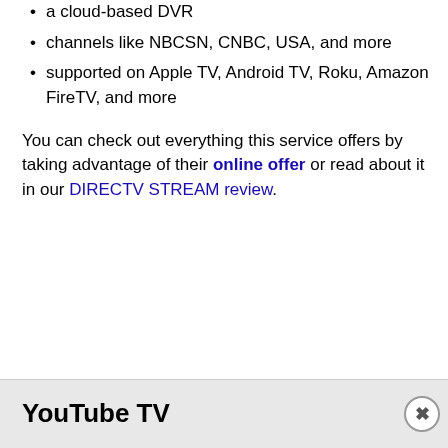a cloud-based DVR
channels like NBCSN, CNBC, USA, and more
supported on Apple TV, Android TV, Roku, Amazon FireTV, and more
You can check out everything this service offers by taking advantage of their online offer or read about it in our DIRECTV STREAM review.
YouTube TV